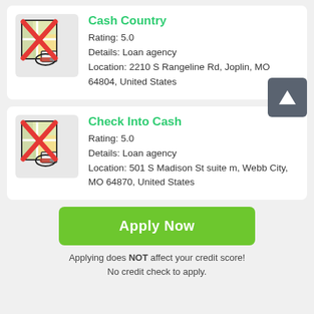[Figure (other): Map icon with red X overlay and pencil, for Cash Country listing]
Cash Country
Rating: 5.0
Details: Loan agency
Location: 2210 S Rangeline Rd, Joplin, MO 64804, United States
[Figure (other): Map icon with red X overlay and pencil, for Check Into Cash listing]
Check Into Cash
Rating: 5.0
Details: Loan agency
Location: 501 S Madison St suite m, Webb City, MO 64870, United States
Apply Now
Applying does NOT affect your credit score!
No credit check to apply.